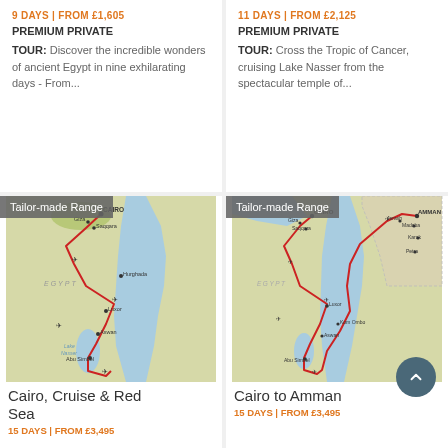9 DAYS | FROM £1,605
PREMIUM PRIVATE
TOUR: Discover the incredible wonders of ancient Egypt in nine exhilarating days - From...
11 DAYS | FROM £2,125
PREMIUM PRIVATE
TOUR: Cross the Tropic of Cancer, cruising Lake Nasser from the spectacular temple of...
[Figure (map): Tailor-made Range map showing route through Egypt: Cairo, Giza, Saqqara, Hurghada, Luxor, Aswan, Abu Simbel with red route line]
Cairo, Cruise & Red Sea
15 DAYS | FROM £3,495
[Figure (map): Tailor-made Range map showing route from Cairo to Amman through Egypt and Jordan: Cairo, Giza, Saqqara, Luxor, Kom Ombo, Aswan, Abu Simbel, Jerash, Amman, Madaba, Karak, Petra with red route line]
Cairo to Amman
15 DAYS | FROM £3,495